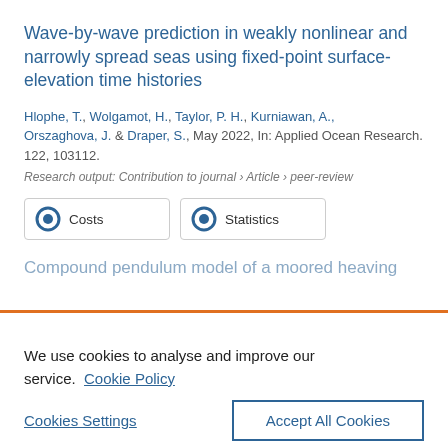Wave-by-wave prediction in weakly nonlinear and narrowly spread seas using fixed-point surface-elevation time histories
Hlophe, T., Wolgamot, H., Taylor, P. H., Kurniawan, A., Orszaghova, J. & Draper, S., May 2022, In: Applied Ocean Research. 122, 103112.
Research output: Contribution to journal › Article › peer-review
Costs   Statistics
Compound pendulum model of a moored heaving
We use cookies to analyse and improve our service. Cookie Policy
Cookies Settings
Accept All Cookies